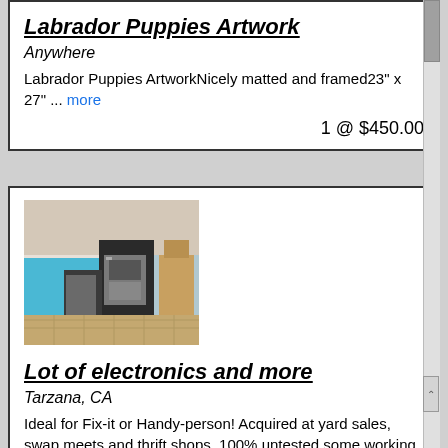Labrador Puppies Artwork
Anywhere
Labrador Puppies ArtworkNicely matted and framed23" x 27" ... more
1 @ $450.00
[Figure (photo): Outdoor scene showing electronics and appliances including what appears to be air fryers or kitchen appliances piled outdoors near a pool area with patio furniture]
Lot of electronics and more
Tarzana, CA
Ideal for Fix-it or Handy-person! Acquired at yard sales, swap meets and thrift shops. 100% untested some working some?? Must pick up in San Fernando Valley $495 ITEM LIST INCLUDED...